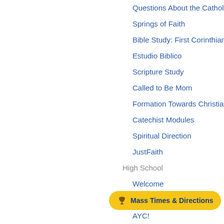Questions About the Catholic F
Springs of Faith
Bible Study: First Corinthians
Estudio Biblico
Scripture Study
Called to Be Mom
Formation Towards Christian M
Catechist Modules
Spiritual Direction
JustFaith
High School
Welcome
Summer Mission Trip
AYC!
Junior High
Welcome
Elementary
Mass Times & Directions